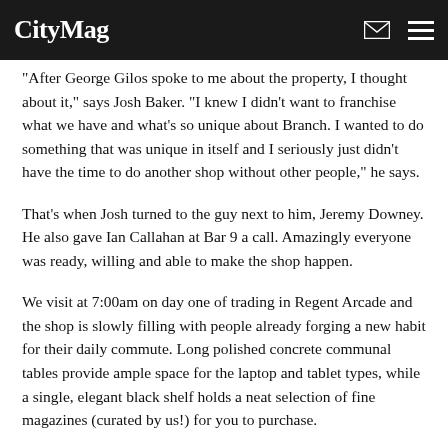CityMag
“After George Gilos spoke to me about the property, I thought about it,” says Josh Baker. “I knew I didn’t want to franchise what we have and what’s so unique about Branch. I wanted to do something that was unique in itself and I seriously just didn’t have the time to do another shop without other people,” he says.
That’s when Josh turned to the guy next to him, Jeremy Downey. He also gave Ian Callahan at Bar 9 a call. Amazingly everyone was ready, willing and able to make the shop happen.
We visit at 7:00am on day one of trading in Regent Arcade and the shop is slowly filling with people already forging a new habit for their daily commute. Long polished concrete communal tables provide ample space for the laptop and tablet types, while a single, elegant black shelf holds a neat selection of fine magazines (curated by us!) for you to purchase.